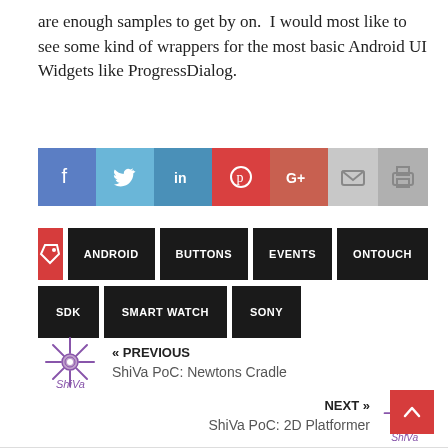are enough samples to get by on.  I would most like to see some kind of wrappers for the most basic Android UI Widgets like ProgressDialog.
[Figure (infographic): Social sharing bar with icons for Facebook, Twitter, LinkedIn, Pinterest, Google+, Email, and Print]
ANDROID
BUTTONS
EVENTS
ONTOUCH
SDK
SMART WATCH
SONY
« PREVIOUS
ShiVa PoC: Newtons Cradle
NEXT »
ShiVa PoC: 2D Platformer